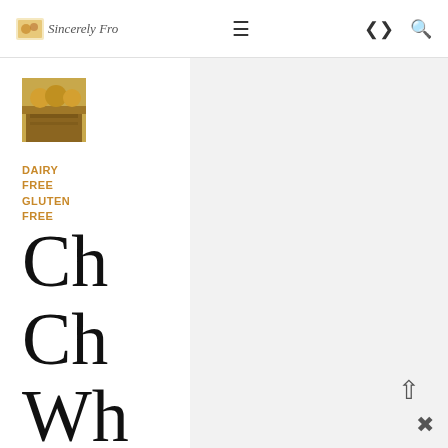Sincerely Fro
[Figure (screenshot): Website screenshot showing a blog navigation bar with logo 'Sincerely Fro', hamburger menu icon, share icon, and search icon]
[Figure (photo): Small thumbnail photo showing baked goods or treats in warm golden tones]
DAIRY FREE GLUTEN FREE
Ch Ch Wh Be Ble Blo (Yo